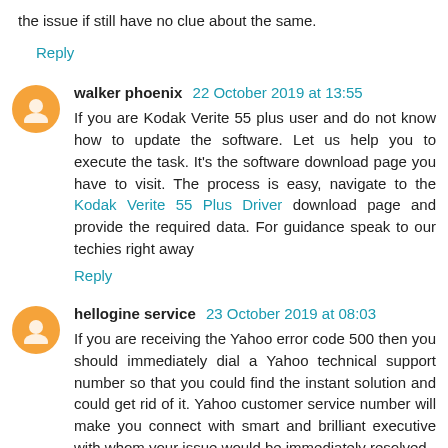the issue if still have no clue about the same.
Reply
walker phoenix  22 October 2019 at 13:55
If you are Kodak Verite 55 plus user and do not know how to update the software. Let us help you to execute the task. It's the software download page you have to visit. The process is easy, navigate to the Kodak Verite 55 Plus Driver download page and provide the required data. For guidance speak to our techies right away
Reply
hellogine service  23 October 2019 at 08:03
If you are receiving the Yahoo error code 500 then you should immediately dial a Yahoo technical support number so that you could find the instant solution and could get rid of it. Yahoo customer service number will make you connect with smart and brilliant executive with whom your issue would be immediately resolved.